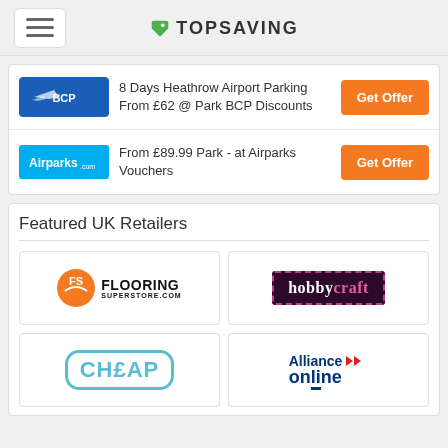TOPSAVING
8 Days Heathrow Airport Parking From £62 @ Park BCP Discounts
Get Offer
From £89.99 Park - at Airparks Vouchers
Get Offer
Featured UK Retailers
[Figure (logo): Flooring Superstore logo]
[Figure (logo): Hobbycraft logo]
[Figure (logo): Cheap logo with teal border]
[Figure (logo): Alliance Online logo]